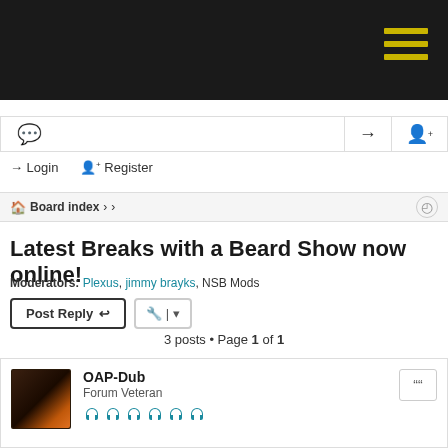[Dark header bar with hamburger menu]
Login  Register
Board index › ›
Latest Breaks with a Beard Show now online!
Moderators: Plexus, jimmy brayks, NSB Mods
Post Reply  [tools]
3 posts • Page 1 of 1
OAP-Dub
Forum Veteran